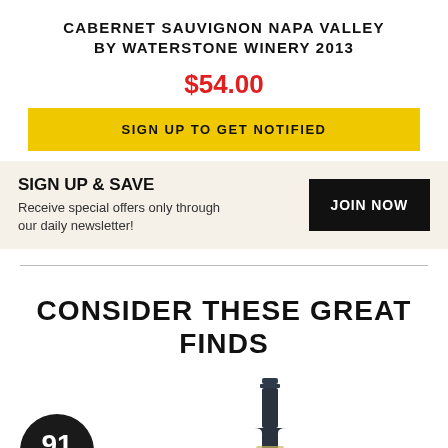CABERNET SAUVIGNON NAPA VALLEY BY WATERSTONE WINERY 2013
$54.00
SIGN UP TO GET NOTIFIED
SIGN UP & SAVE
Receive special offers only through our daily newsletter!
JOIN NOW
CONSIDER THESE GREAT FINDS
[Figure (other): 91 PTS score circle badge and wine bottle neck photo for a product recommendation section]